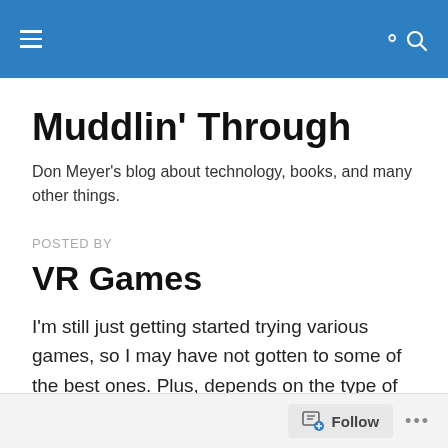Muddlin' Through — navigation bar
Muddlin' Through
Don Meyer's blog about technology, books, and many other things.
POSTED BY
VR Games
I'm still just getting started trying various games, so I may have not gotten to some of the best ones. Plus, depends on the type of game of course.
Follow